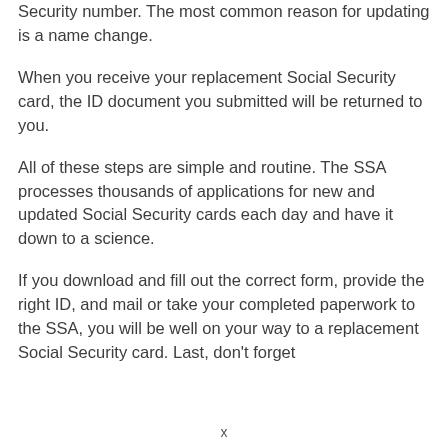Security number. The most common reason for updating is a name change.
When you receive your replacement Social Security card, the ID document you submitted will be returned to you.
All of these steps are simple and routine. The SSA processes thousands of applications for new and updated Social Security cards each day and have it down to a science.
If you download and fill out the correct form, provide the right ID, and mail or take your completed paperwork to the SSA, you will be well on your way to a replacement Social Security card. Last, don't forget
x